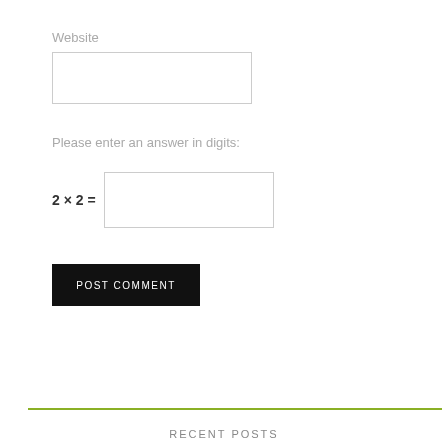Website
Please enter an answer in digits:
POST COMMENT
RECENT POSTS